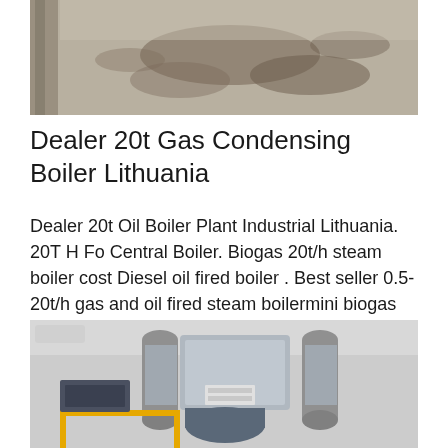[Figure (photo): Top portion of a photo showing a wet or stained concrete/floor surface with dark splatter marks and a pole or post visible at left]
Dealer 20t Gas Condensing Boiler Lithuania
Dealer 20t Oil Boiler Plant Industrial Lithuania. 20T H Fo Central Boiler. Biogas 20t/h steam boiler cost Diesel oil fired boiler . Best seller 0.5-20t/h gas and oil fired steam boilermini biogas 50t/h FO industrial boilers Natural gas…
[Figure (photo): Industrial boiler room with large cylindrical pipes, insulated boiler units in grey and silver, yellow railing, and various mechanical equipment in an industrial facility]
Get Price